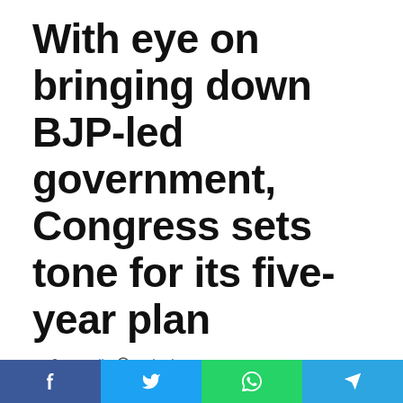With eye on bringing down BJP-led government, Congress sets tone for its five-year plan
Murali   17/03/2018